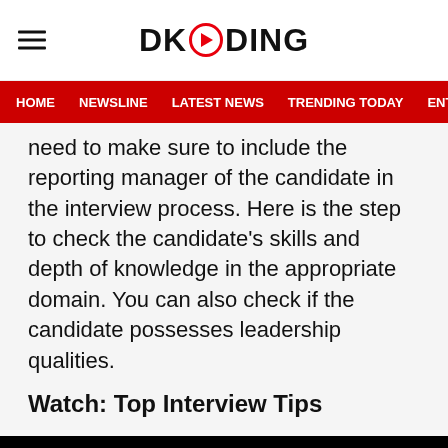DKODING
HOME  NEWSLINE  LATEST NEWS  TRENDING TODAY  ENT
need to make sure to include the reporting manager of the candidate in the interview process. Here is the step to check the candidate's skills and depth of knowledge in the appropriate domain. You can also check if the candidate possesses leadership qualities.
Watch: Top Interview Tips
[Figure (screenshot): Black video player area with a white circular play button at the bottom center]